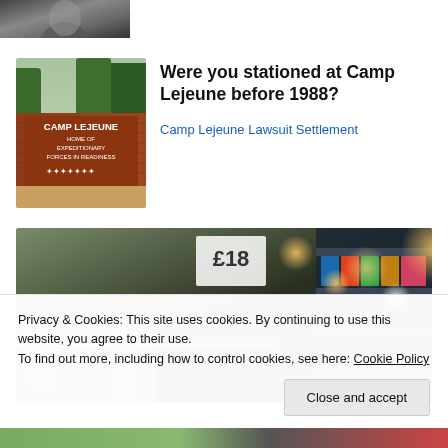[Figure (photo): Black and white close-up portrait photo of a person with long hair]
[Figure (photo): Photo of Camp Lejeune sign reading 'Camp Lejeune Home of Expeditionary Forces in Readiness' with trees and visitors in background]
Were you stationed at Camp Lejeune before 1988?
Camp Lejeune Lawsuit Settlement
[Figure (photo): Blurred photo of a store/market interior with bright bokeh lights and shelving in background, price tag visible]
Privacy & Cookies: This site uses cookies. By continuing to use this website, you agree to their use.
To find out more, including how to control cookies, see here: Cookie Policy
[Figure (photo): Partially visible bottom image strip showing outdoor scene]